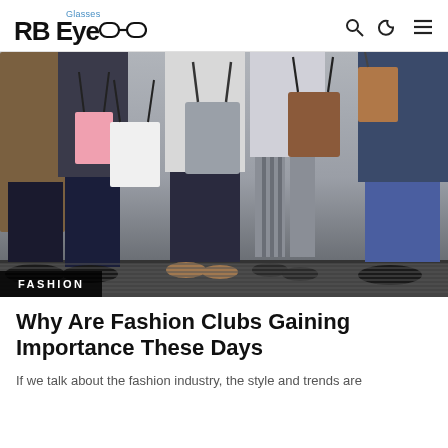RB EyeGlasses
[Figure (photo): Group of people standing together holding shopping bags of various colors including pink, white, grey, brown. Their faces are cropped out; only torsos, arms, and legs visible. Fashion/shopping themed photo.]
FASHION
Why Are Fashion Clubs Gaining Importance These Days
If we talk about the fashion industry, the style and trends are